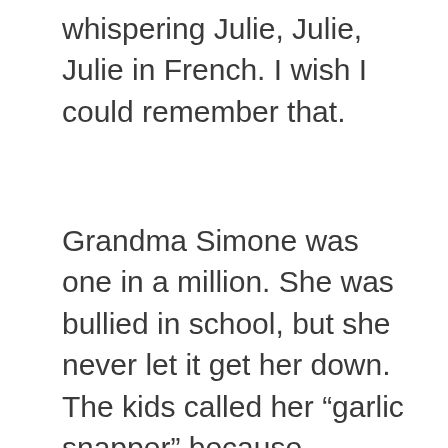whispering Julie, Julie, Julie in French. I wish I could remember that.
Grandma Simone was one in a million. She was bullied in school, but she never let it get her down. The kids called her “garlic snapper” because strands of garlic hung on their front porch to dry. She changed her name to Bertha in junior high school. I still smile over that. A few older friends still called her Bertha later on in life. But her